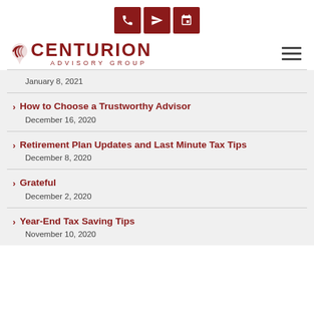[Figure (logo): Three dark red icon buttons: phone, send/paper-plane, and calendar]
[Figure (logo): Centurion Advisory Group logo with stylized C/wave icon, dark red text, and hamburger menu icon on right]
January 8, 2021
How to Choose a Trustworthy Advisor
December 16, 2020
Retirement Plan Updates and Last Minute Tax Tips
December 8, 2020
Grateful
December 2, 2020
Year-End Tax Saving Tips
November 10, 2020